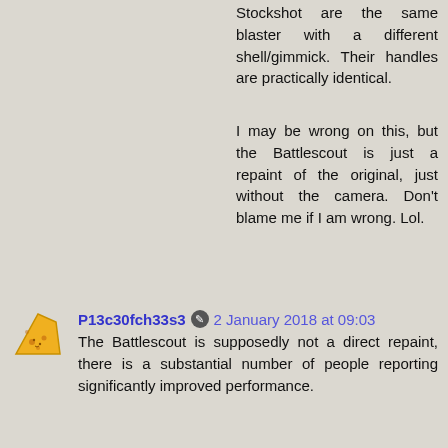Stockshot are the same blaster with a different shell/gimmick. Their handles are practically identical.
I may be wrong on this, but the Battlescout is just a repaint of the original, just without the camera. Don't blame me if I am wrong. Lol.
P13c30fch33s3  2 January 2018 at 09:03
The Battlescout is supposedly not a direct repaint, there is a substantial number of people reporting significantly improved performance.
JCdaboss  10 January 2018 at 02:40
"I may be wrong on this, but the Battlescout is just a repaint of the original, just without the camera. Don't blame me if I am wrong. Lol." That was supposed to be a joke...I did not realize the battlecammo battlescout was different than the predecessor. It does look cool.